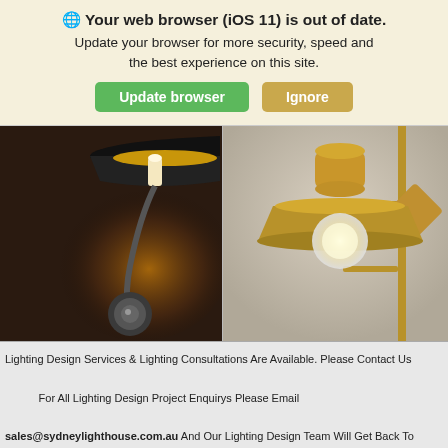🌐 Your web browser (iOS 11) is out of date. Update your browser for more security, speed and the best experience on this site.
Update browser | Ignore
[Figure (photo): Wall-mounted black chrome arm lamp sconce with black shade on dark wall]
[Figure (photo): Brass industrial wall sconce with exposed bulb and metal shade on light wall]
Lighting Design Services & Lighting Consultations Are Available. Please Contact Us

For All Lighting Design Project Enquirys Please Email

sales@sydneylighthouse.com.au And Our Lighting Design Team Will Get Back To

You Shortly.    Dismiss